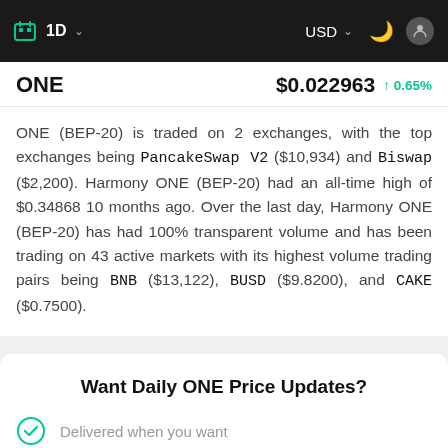1D  USD
ONE  $0.022963  ↑ 0.65%
ONE (BEP-20) is traded on 2 exchanges, with the top exchanges being PancakeSwap V2 ($10,934) and Biswap ($2,200). Harmony ONE (BEP-20) had an all-time high of $0.34868 10 months ago. Over the last day, Harmony ONE (BEP-20) has had 100% transparent volume and has been trading on 43 active markets with its highest volume trading pairs being BNB ($13,122), BUSD ($9.8200), and CAKE ($0.7500).
Want Daily ONE Price Updates?
Delivered when you want